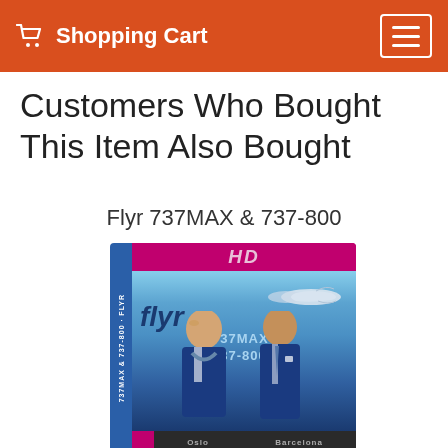Shopping Cart
Customers Who Bought This Item Also Bought
Flyr 737MAX & 737-800
[Figure (photo): HD Blu-ray case cover for 'Flyr 737MAX & 737-800' featuring two airline crew members in dark blue uniforms standing in front of a Flyr aircraft, with Oslo and Barcelona destinations shown at bottom]